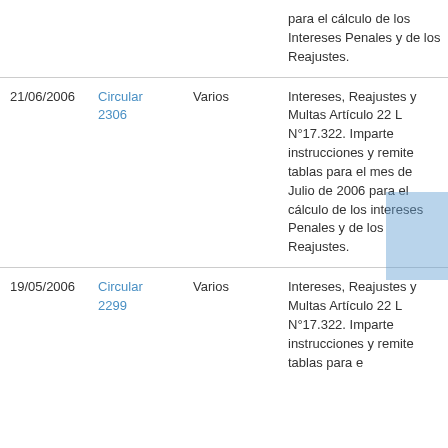| Fecha | Norma | Tema | Descripción |
| --- | --- | --- | --- |
|  |  |  | para el cálculo de los Intereses Penales y de los Reajustes. |
| 21/06/2006 | Circular 2306 | Varios | Intereses, Reajustes y Multas Artículo 22 L N°17.322. Imparte instrucciones y remite tablas para el mes de Julio de 2006 para el cálculo de los intereses Penales y de los Reajustes. |
| 19/05/2006 | Circular 2299 | Varios | Intereses, Reajustes y Multas Artículo 22 L N°17.322. Imparte instrucciones y remite tablas para e... |